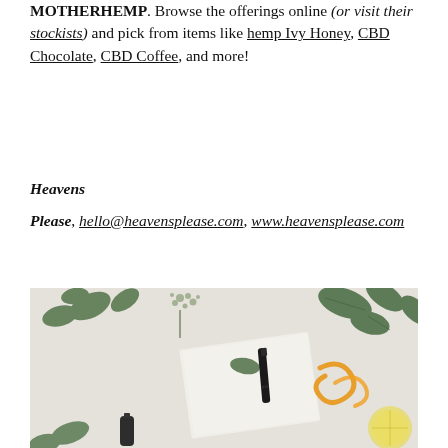MOTHERHEMP. Browse the offerings online (or visit their stockists) and pick from items like hemp Ivy Honey, CBD Chocolate, CBD Coffee, and more!
Heavens
Please, hello@heavensplease.com, www.heavensplease.com
[Figure (photo): Flat lay photo of green eucalyptus leaves and flowers on a light grey background, with a white tile/tray, a black pen-like product (possibly a CBD vape pen or similar), orange citrus peels, and what appears to be citrus fruit slices arranged decoratively.]